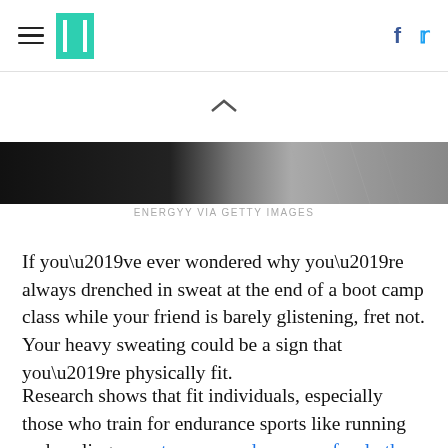HuffPost header with hamburger menu, logo, Facebook and Twitter icons
[Figure (photo): Black and white cropped photo strip, partial view of a sweating person]
ENERGYY VIA GETTY IMAGES
If you’ve ever wondered why you’re always drenched in sweat at the end of a boot camp class while your friend is barely glistening, fret not. Your heavy sweating could be a sign that you’re physically fit.
Research shows that fit individuals, especially those who train for endurance sports like running and cycling, sweat sooner and more profusely than people